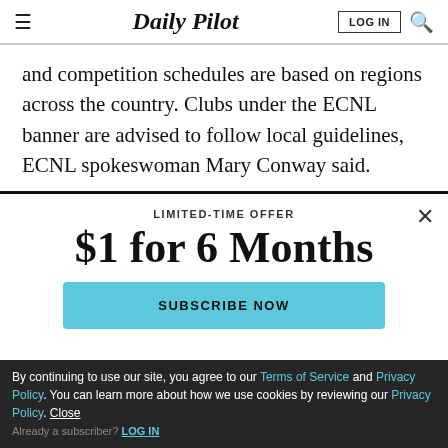Daily Pilot
and competition schedules are based on regions across the country. Clubs under the ECNL banner are advised to follow local guidelines, ECNL spokeswoman Mary Conway said.
LIMITED-TIME OFFER
$1 for 6 Months
SUBSCRIBE NOW
By continuing to use our site, you agree to our Terms of Service and Privacy Policy. You can learn more about how we use cookies by reviewing our Privacy Policy. Close
Already a subscriber? LOG IN